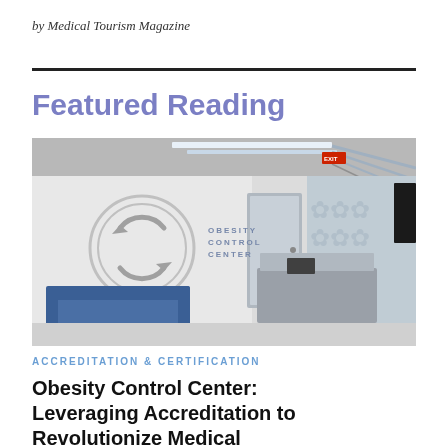by Medical Tourism Magazine
Featured Reading
[Figure (photo): Interior lobby/reception area of Obesity Control Center, showing the OCC circular logo on the wall, 'OBESITY CONTROL CENTER' text signage, a blue waiting room sofa, a reception desk, and a decorative patterned accent wall with modern LED lighting on the ceiling.]
ACCREDITATION & CERTIFICATION
Obesity Control Center: Leveraging Accreditation to Revolutionize Medical